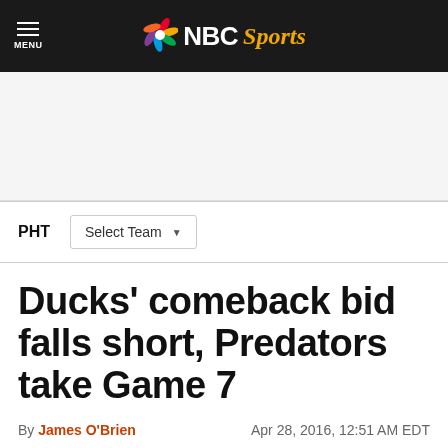NBC Sports
[Figure (other): Advertisement placeholder area (gray background)]
PHT   Select Team
Ducks' comeback bid falls short, Predators take Game 7
By James O'Brien   Apr 28, 2016, 12:51 AM EDT